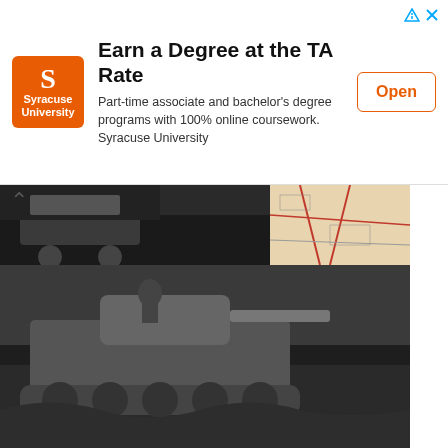[Figure (infographic): Syracuse University advertisement banner with orange logo, title 'Earn a Degree at the TA Rate', body text about part-time programs, and orange 'Open' button]
[Figure (photo): Grid of historical black and white military photographs including tanks, soldiers, and maps]